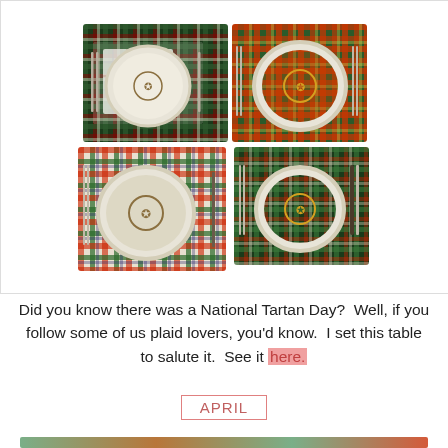[Figure (photo): A collage of four photos showing table place settings with plaid/tartan napkins and placemats in various tartan patterns (dark green/white and red/green), each with a white plate bearing a gold crest emblem, and silverware/cutlery arranged around the plates.]
Did you know there was a National Tartan Day?  Well, if you follow some of us plaid lovers, you'd know.  I set this table to salute it.  See it here.
APRIL